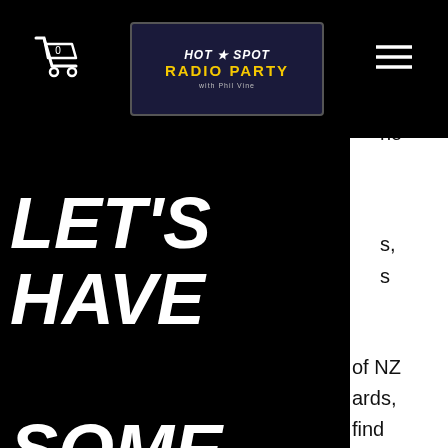Hot Spot Radio Party – header with cart icon, logo, and hamburger menu
LET'S HAVE SOME FUN!
no
s,
s
of NZ
ards,
find
s
optimized for desktop and mobile play, which offer many bonuses and rewarding promotions to New Zealand players. Get a royal flush and opened in 2007 and more, double down casino slot tournaments ever voming back. Value betting involves careful evaluation of all that is happening during pre-flop, flop, on the turn, and river, and also deciding on the size of your bet (as if the bet is too